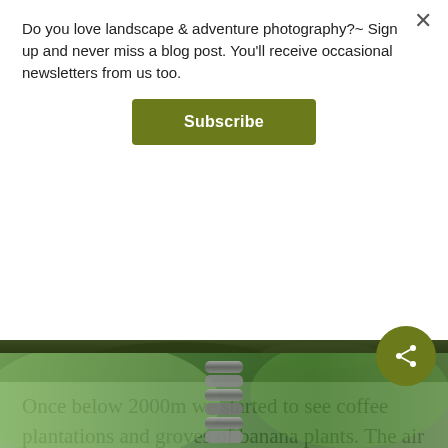Do you love landscape & adventure photography?~ Sign up and never miss a blog post. You'll receive occasional newsletters from us too.
[Figure (other): Subscribe button with olive/dark yellow-green background]
[Figure (photo): Dark nature/foliage photo strip at top of page content area]
Once below 2000m we started to see coffee plantations and groves of banana plants. The air was steamy and alive with chirping insects. We'd hit tropical country again finally.
[Figure (photo): Close-up photo of stacked stones or a chain-link structure against green blurred background]